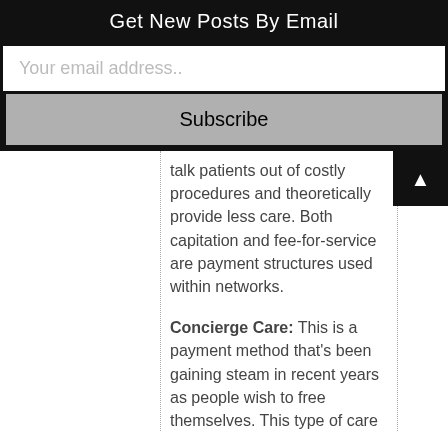Get New Posts By Email
Your email address..
Subscribe
talk patients out of costly procedures and theoretically provide less care. Both capitation and fee-for-service are payment structures used within networks.
Concierge Care: This is a payment method that's been gaining steam in recent years as people wish to free themselves. This type of care mainly arose from rich people who were more willing to pay a high price for care upfront. In this model patients just pay the doctor directly. The provider may charge a yearly fee to give the patient access to extra health services, or just have them pay per visit. This method does have some.